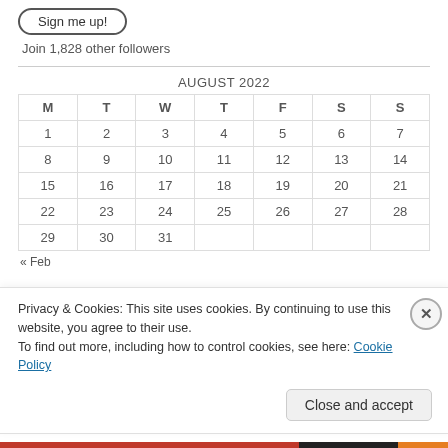[Figure (other): Sign me up! button with rounded border]
Join 1,828 other followers
| M | T | W | T | F | S | S |
| --- | --- | --- | --- | --- | --- | --- |
| 1 | 2 | 3 | 4 | 5 | 6 | 7 |
| 8 | 9 | 10 | 11 | 12 | 13 | 14 |
| 15 | 16 | 17 | 18 | 19 | 20 | 21 |
| 22 | 23 | 24 | 25 | 26 | 27 | 28 |
| 29 | 30 | 31 |  |  |  |  |
« Feb
Privacy & Cookies: This site uses cookies. By continuing to use this website, you agree to their use.
To find out more, including how to control cookies, see here: Cookie Policy
Close and accept